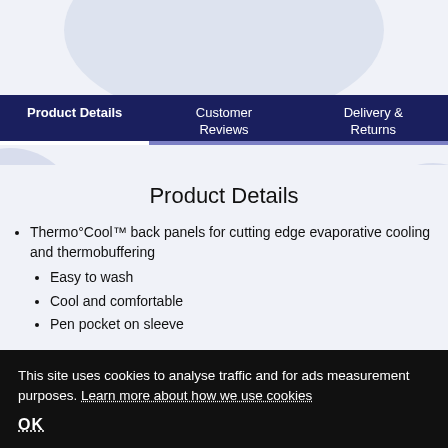Product Details | Customer Reviews | Delivery & Returns
Product Details
Thermo°Cool™ back panels for cutting edge evaporative cooling and thermobuffering
Easy to wash
Cool and comfortable
Pen pocket on sleeve
This site uses cookies to analyse traffic and for ads measurement purposes. Learn more about how we use cookies
OK